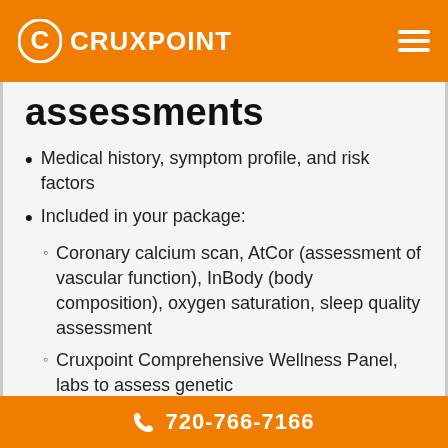CRUXPOINT
assessments
Medical history, symptom profile, and risk factors
Included in your package:
Coronary calcium scan, AtCor (assessment of vascular function), InBody (body composition), oxygen saturation, sleep quality assessment
Cruxpoint Comprehensive Wellness Panel, labs to assess genetic
720-766-7166